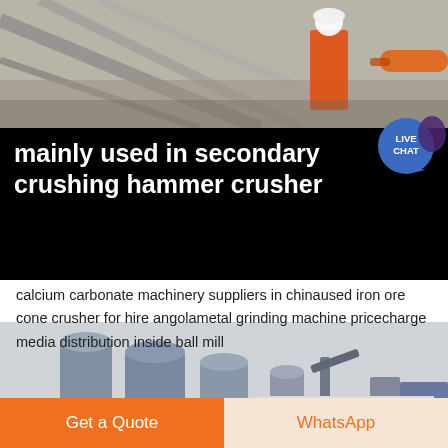[Figure (photo): Industrial mining site with a worker in orange safety vest and white hard hat standing near construction equipment and structural beams.]
mainly used in secondary crushing hammer crusher
calcium carbonate machinery suppliers in chinaused iron ore cone crusher for hire angolametal grinding machine pricecharge media distribution inside ball mill
[Figure (photo): Industrial facility exterior showing large gray cylindrical silos, conveyors, and processing equipment against a light sky.]